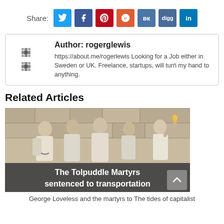[Figure (infographic): Social share buttons row: Twitter (blue), Facebook (dark blue), Pinterest (red), Reddit (orange), VK (steel blue), Digg (steel blue), LinkedIn (blue)]
Author: rogerglewis
https://about.me/rogerlewis Looking for a Job either in Sweden or UK. Freelance, startups, will turń my hand to anything.
Related Articles
[Figure (illustration): Illustration depicting The Tolpuddle Martyrs sentenced to transportation — relief or mural showing several historical figures in period clothing. Overlay text reads: The Tolpuddle Martyrs sentenced to transportation]
George Loveless and the martyrs to The tides of capitalist